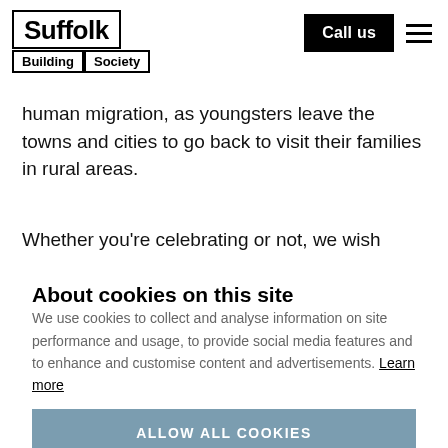Suffolk Building Society — Call us | navigation menu
human migration, as youngsters leave the towns and cities to go back to visit their families in rural areas.
Whether you're celebrating or not, we wish everyone a
About cookies on this site
We use cookies to collect and analyse information on site performance and usage, to provide social media features and to enhance and customise content and advertisements. Learn more
ALLOW ALL COOKIES
Cookie settings